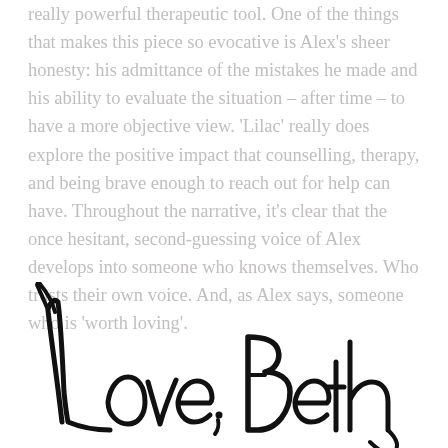really powerful therapeutic tool. One of the things that makes this piece so evocative is Alex's sheer honesty: his admittance of the mistakes he made and his ability to evaluate the situation – after time – to have a more objective view. 'Lilac' really does explore the positive impact that counselling, therapy, and being brave enough to reach out for help can have. Throughout the narrative, it's clear that the once hesitant, second-guessing voice of Alex develops into someone who knows themselves. Who trusts their own voice. And, as Alex says, someone who is 'worth loving'.
[Figure (illustration): Handwritten cursive signature reading 'Love, Beth' in large black script]